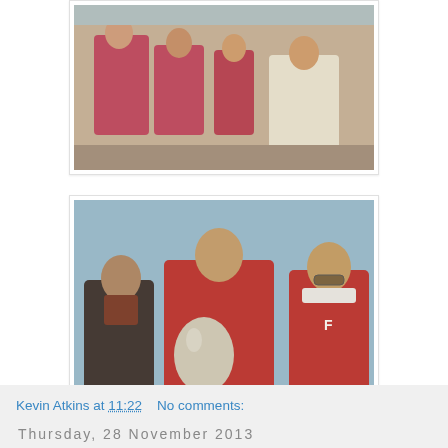[Figure (photo): Vintage photo of people in pink/red racing suits sitting together, possibly at a motorsport event]
[Figure (photo): Vintage podium photo of three men, one holding a trophy cup, wearing red racing jackets]
Kevin Atkins at 11:22    No comments:
Share
Thursday, 28 November 2013